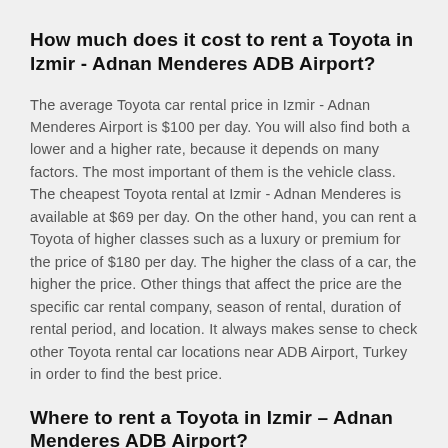How much does it cost to rent a Toyota in Izmir - Adnan Menderes ADB Airport?
The average Toyota car rental price in Izmir - Adnan Menderes Airport is $100 per day. You will also find both a lower and a higher rate, because it depends on many factors. The most important of them is the vehicle class. The cheapest Toyota rental at Izmir - Adnan Menderes is available at $69 per day. On the other hand, you can rent a Toyota of higher classes such as a luxury or premium for the price of $180 per day. The higher the class of a car, the higher the price. Other things that affect the price are the specific car rental company, season of rental, duration of rental period, and location. It always makes sense to check other Toyota rental car locations near ADB Airport, Turkey in order to find the best price.
Where to rent a Toyota in Izmir – Adnan Menderes ADB Airport?